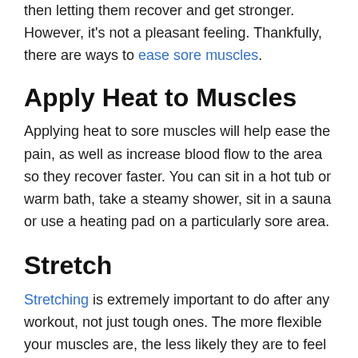then letting them recover and get stronger. However, it's not a pleasant feeling. Thankfully, there are ways to ease sore muscles.
Apply Heat to Muscles
Applying heat to sore muscles will help ease the pain, as well as increase blood flow to the area so they recover faster. You can sit in a hot tub or warm bath, take a steamy shower, sit in a sauna or use a heating pad on a particularly sore area.
Stretch
Stretching is extremely important to do after any workout, not just tough ones. The more flexible your muscles are, the less likely they are to feel stiff. Stretching can be used as a preventative measure for